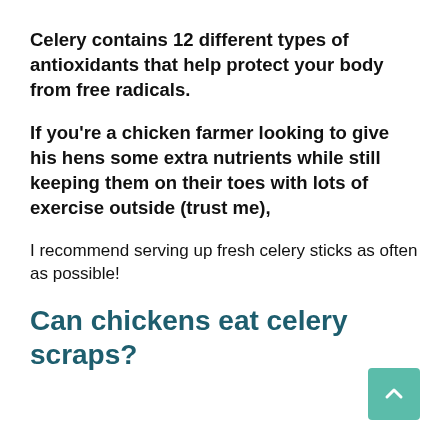Celery contains 12 different types of antioxidants that help protect your body from free radicals.
If you're a chicken farmer looking to give his hens some extra nutrients while still keeping them on their toes with lots of exercise outside (trust me),
I recommend serving up fresh celery sticks as often as possible!
Can chickens eat celery scraps?